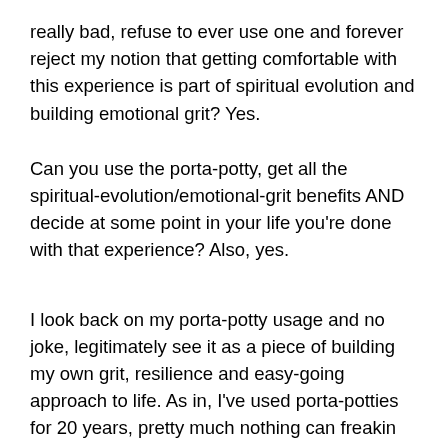really bad, refuse to ever use one and forever reject my notion that getting comfortable with this experience is part of spiritual evolution and building emotional grit? Yes.
Can you use the porta-potty, get all the spiritual-evolution/emotional-grit benefits AND decide at some point in your life you're done with that experience? Also, yes.
I look back on my porta-potty usage and no joke, legitimately see it as a piece of building my own grit, resilience and easy-going approach to life. As in, I've used porta-potties for 20 years, pretty much nothing can freakin bother me now, ya know?
SO… The next time you're racing between loads, freaking out that you don't have time to run to the